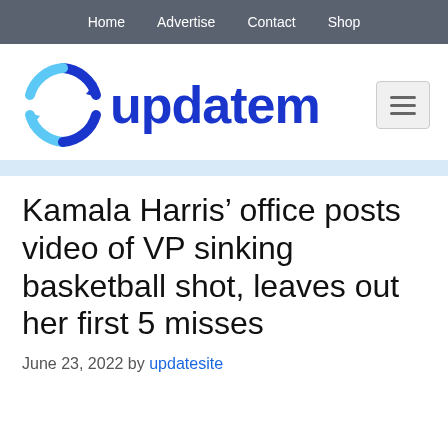Home   Advertise   Contact   Shop
[Figure (logo): Updatem website logo with circular arrows icon in blue and the text 'updatem' in dark blue bold font, with a hamburger menu icon on the right]
Kamala Harris’ office posts video of VP sinking basketball shot, leaves out her first 5 misses
June 23, 2022 by updatesite